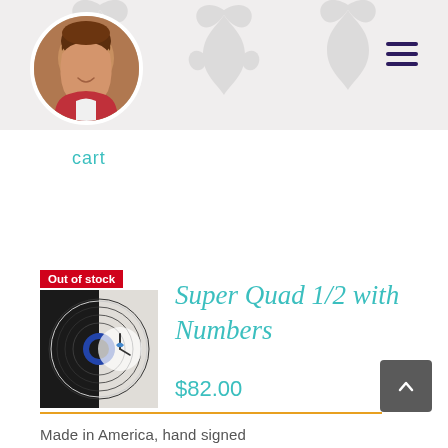[Figure (photo): Website header banner with decorative damask pattern background and circular portrait photo of a smiling woman in a pink/red top, with a hamburger menu icon top right]
cart
[Figure (photo): Product listing: vinyl record clock labeled 'Super Quad 1/2 with Numbers', showing a half vinyl record, half clock face image. Red 'Out of stock' badge. Price $82.00. Gold divider line below. Scroll-to-top button.]
Made in America, hand signed